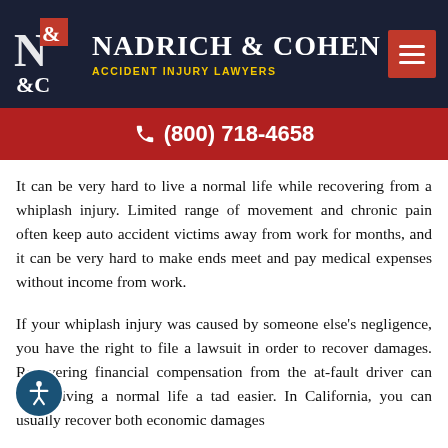[Figure (logo): Nadrich & Cohen Accident Injury Lawyers logo with N&C badge and firm name on dark navy background with hamburger menu button]
(800) 718-4658
It can be very hard to live a normal life while recovering from a whiplash injury. Limited range of movement and chronic pain often keep auto accident victims away from work for months, and it can be very hard to make ends meet and pay medical expenses without income from work.
If your whiplash injury was caused by someone else's negligence, you have the right to file a lawsuit in order to recover damages. Recovering financial compensation from the at-fault driver can make living a normal life a tad easier. In California, you can usually recover both economic damages